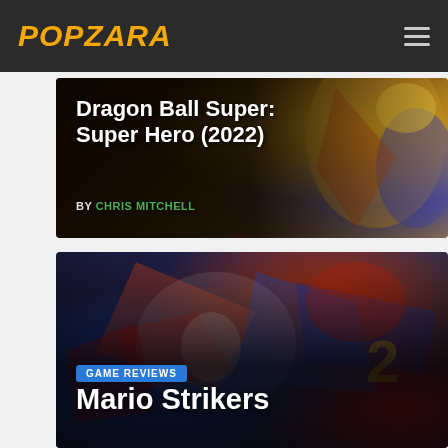POPZARA
[Figure (screenshot): Hero image for Dragon Ball Super: Super Hero (2022) article, with colorful anime characters in the background]
Dragon Ball Ball Super: Super Hero (2022)
BY CHRIS MITCHELL
[Figure (screenshot): Hero image for Mario Strikers article, showing colorful action-packed game art with Mario characters clashing]
GAME REVIEWS
Mario Strikers